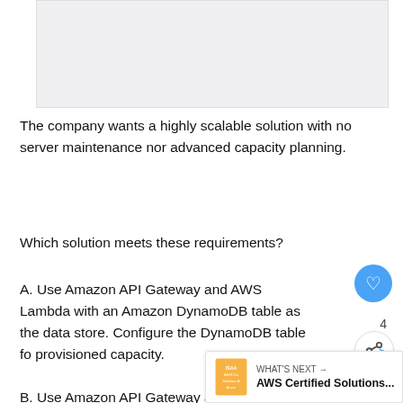[Figure (other): Cropped image area at the top of the page, partially visible screenshot or diagram (content not visible, appears as gray/white box)]
The company wants a highly scalable solution with no server maintenance nor advanced capacity planning.
Which solution meets these requirements?
A. Use Amazon API Gateway and AWS Lambda with an Amazon DynamoDB table as the data store. Configure the DynamoDB table fo provisioned capacity.
B. Use Amazon API Gateway and AWS Lambda